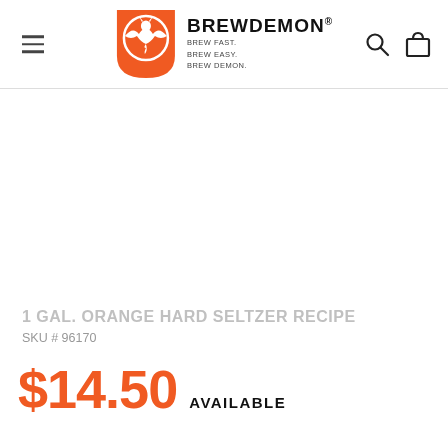BREWDEMON® — BREW FAST. BREW EASY. BREW DEMON.
1 GAL. ORANGE HARD SELTZER RECIPE
SKU # 96170
$14.50 AVAILABLE